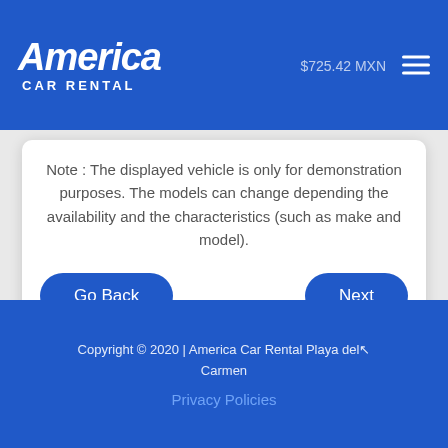America Car Rental — $725.42 MXN
Note : The displayed vehicle is only for demonstration purposes. The models can change depending the availability and the characteristics (such as make and model).
Go Back
Next
Copyright © 2020 | America Car Rental Playa del Carmen
Privacy Policies